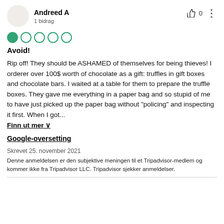Andreed A
1 bidrag
[Figure (other): 1-out-of-5 star rating shown as circles: one filled green circle and four empty circles]
Avoid!
Rip off! They should be ASHAMED of themselves for being thieves! I orderer over 100$ worth of chocolate as a gift: truffles in gift boxes and chocolate bars. I waited at a table for them to prepare the truffle boxes. They gave me everything in a paper bag and so stupid of me to have just picked up the paper bag without "policing" and inspecting it first. When I got...
Finn ut mer ∨
Google-oversetting
Skrevet 25. november 2021
Denne anmeldelsen er den subjektive meningen til et Tripadvisor-medlem og kommer ikke fra Tripadvisor LLC. Tripadvisor sjekker anmeldelser.